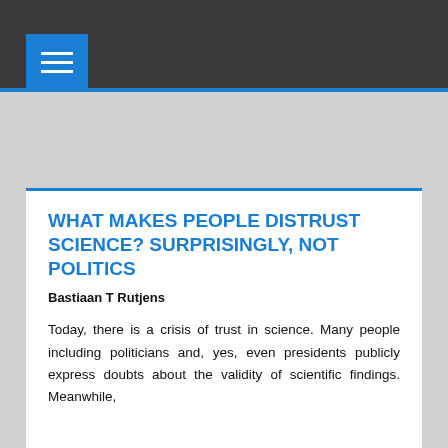WHAT MAKES PEOPLE DISTRUST SCIENCE? SURPRISINGLY, NOT POLITICS
Bastiaan T Rutjens
Today, there is a crisis of trust in science. Many people including politicians and, yes, even presidents publicly express doubts about the validity of scientific findings. Meanwhile,